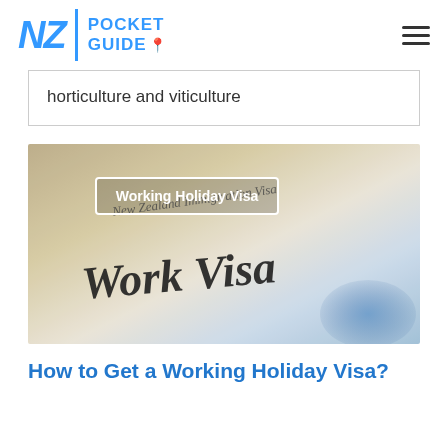NZ Pocket Guide
horticulture and viticulture
[Figure (photo): Close-up photograph of a New Zealand Immigration Work Visa document with 'Working Holiday Visa' overlay tag]
How to Get a Working Holiday Visa?